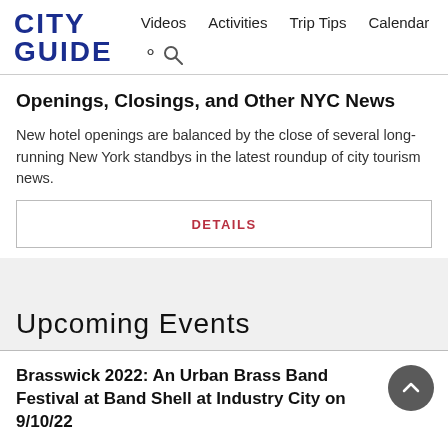CITY GUIDE  Videos  Activities  Trip Tips  Calendar
Openings, Closings, and Other NYC News
New hotel openings are balanced by the close of several long-running New York standbys in the latest roundup of city tourism news.
DETAILS
Upcoming Events
Brasswick 2022: An Urban Brass Band Festival at Band Shell at Industry City on 9/10/22